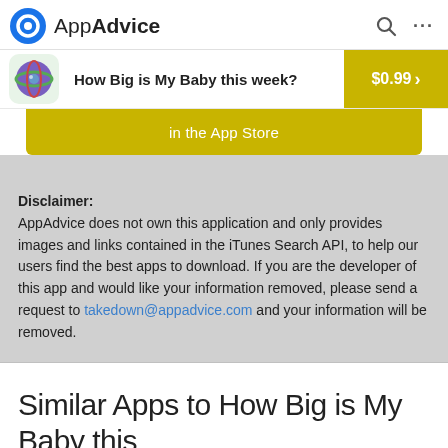AppAdvice
[Figure (screenshot): AppAdvice website header with logo icon, brand name 'AppAdvice', search icon and more (ellipsis) icon]
[Figure (infographic): App advertisement banner: 'How Big is My Baby this week?' priced at $0.99, with app icon on left and yellow price button on right]
[Figure (infographic): Yellow App Store bar showing 'in the App Store']
Disclaimer: AppAdvice does not own this application and only provides images and links contained in the iTunes Search API, to help our users find the best apps to download. If you are the developer of this app and would like your information removed, please send a request to takedown@appadvice.com and your information will be removed.
Similar Apps to How Big is My Baby this